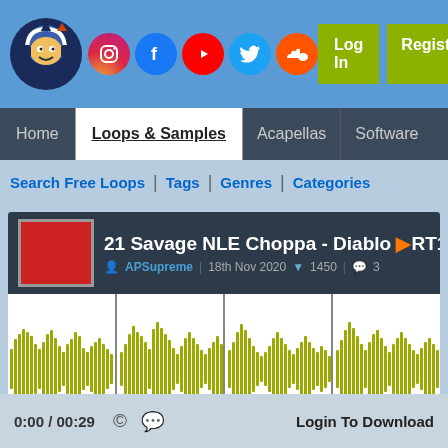[Figure (screenshot): Website header with logo, social media icons (Instagram, Facebook, YouTube, Twitter, SoundCloud), Log In and Register buttons on blue background]
Home | Loops & Samples | Acapellas | Software
Search Free Loops | Tags | Genres | Categories
21 Savage NLE Choppa - Diablo PART1
APSupreme | 18th Nov 2020 | 1450 downloads | 3 comments
[Figure (other): Audio waveform visualization in yellow-green color showing audio pattern of the track]
0:00 / 00:29
Login To Download